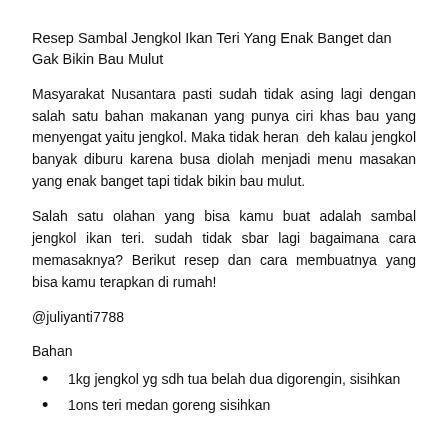Resep Sambal Jengkol Ikan Teri Yang Enak Banget dan Gak Bikin Bau Mulut
Masyarakat Nusantara pasti sudah tidak asing lagi dengan salah satu bahan makanan yang punya ciri khas bau yang menyengat yaitu jengkol. Maka tidak heran  deh kalau jengkol banyak diburu karena busa diolah menjadi menu masakan yang enak banget tapi tidak bikin bau mulut.
Salah satu olahan yang bisa kamu buat adalah sambal jengkol ikan teri. sudah tidak sbar lagi bagaimana cara memasaknya? Berikut resep dan cara membuatnya yang bisa kamu terapkan di rumah!
@juliyanti7788
Bahan
1kg jengkol yg sdh tua belah dua digorengin, sisihkan
1ons teri medan goreng sisihkan